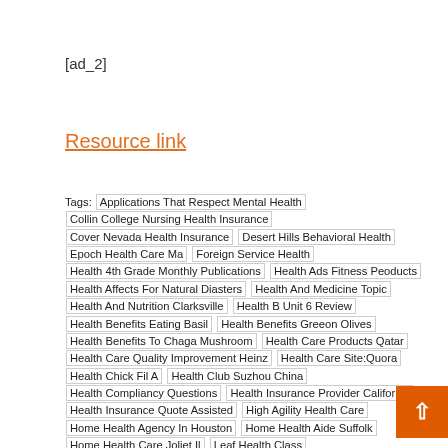[ad_2]
Resource link
Tags: Applications That Respect Mental Health | Collin College Nursing Health Insurance | Cover Nevada Health Insurance | Desert Hills Behavioral Health | Epoch Health Care Ma | Foreign Service Health | Health 4th Grade Monthly Publications | Health Ads Fitness Peoducts | Health Affects For Natural Diasters | Health And Medicine Topic | Health And Nutrition Clarksville | Health B Unit 6 Review | Health Benefits Eating Basil | Health Benefits Greeon Olives | Health Benefits To Chaga Mushroom | Health Care Products Qatar | Health Care Quality Improvement Heinz | Health Care Site:Quora | Health Chick Fil A | Health Club Suzhou China | Health Compliancy Questions | Health Insurance Provider California | Health Insurance Quote Assisted | High Agility Health Care | Home Health Agency In Houston | Home Health Aide Suffolk | Home Health Care Joliet Il | Leaf Health Class | Linda Jasso Health Information Management | Natural Health Grov Beach | Natural Supplement For Lung Health | Navicent Hea Inquicker.Com | Nurse Back To Health Synonym | Optimal He Tsfl | Optimizing Health On Adderall | Pubic Health Major Uf | Public Health Careers In Ct | Public Health Nurse Naalehu | Public Health Policy Breif | Public Health Riverside County | Thesis Stamont About Health | Titan Quest Incrense Health Regeneration